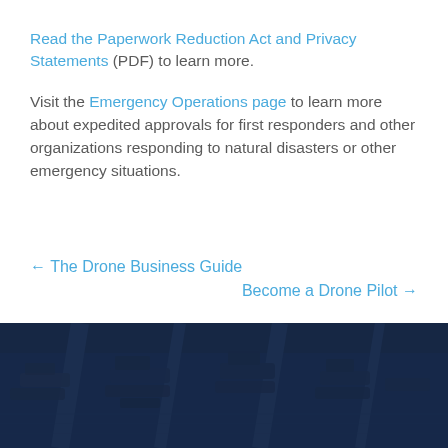Read the Paperwork Reduction Act and Privacy Statements (PDF) to learn more.
Visit the Emergency Operations page to learn more about expedited approvals for first responders and other organizations responding to natural disasters or other emergency situations.
← The Drone Business Guide
Become a Drone Pilot →
[Figure (photo): Aerial photograph of a marina with boats and waterways, overlaid with a dark navy blue tint]